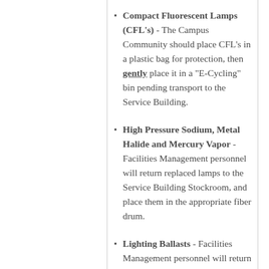Compact Fluorescent Lamps (CFL's) - The Campus Community should place CFL's in a plastic bag for protection, then gently place it in a "E-Cycling" bin pending transport to the Service Building.
High Pressure Sodium, Metal Halide and Mercury Vapor - Facilities Management personnel will return replaced lamps to the Service Building Stockroom, and place them in the appropriate fiber drum.
Lighting Ballasts - Facilities Management personnel will return